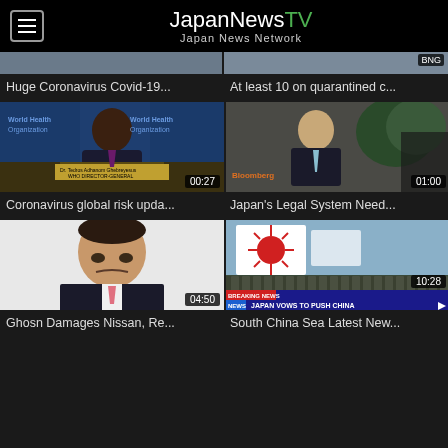JapanNewsTV — Japan News Network
[Figure (screenshot): Partial video thumbnail top strip (cropped, two thumbnails visible)]
Huge Coronavirus Covid-19...
At least 10 on quarantined c...
[Figure (screenshot): WHO Director General press conference video thumbnail, duration 00:27]
[Figure (screenshot): Japanese official at Bloomberg interview video thumbnail, duration 01:00]
Coronavirus global risk upda...
Japan's Legal System Need...
[Figure (screenshot): Carlos Ghosn portrait photo video thumbnail, duration 04:50]
[Figure (screenshot): Japanese military parade with rising sun flag, BREAKING NEWS banner JAPAN VOWS TO PUSH CHINA, duration 10:28]
Ghosn Damages Nissan, Re...
South China Sea Latest New...